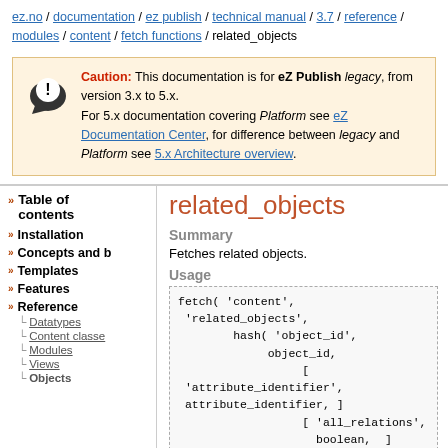ez.no / documentation / ez publish / technical manual / 3.7 / reference / modules / content / fetch functions / related_objects
Caution: This documentation is for eZ Publish legacy, from version 3.x to 5.x. For 5.x documentation covering Platform see eZ Documentation Center, for difference between legacy and Platform see 5.x Architecture overview.
Table of contents
Installation
Concepts and b
Templates
Features
Reference
Datatypes
Content classe
Modules
Views
Objects
related_objects
Summary
Fetches related objects.
Usage
fetch( 'content',
 'related_objects',
        hash( 'object_id',
             object_id,
                  [
 'attribute_identifier',
 attribute_identifier, ]
                  [ 'all_relations',
                    boolean,  ]